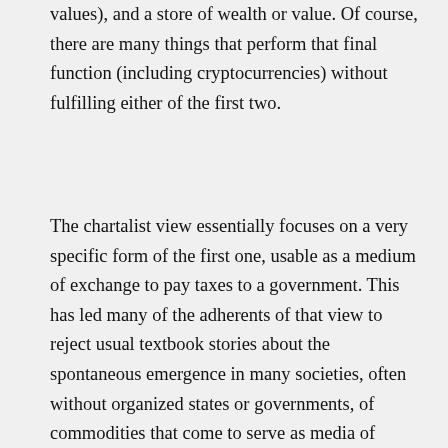values), and a store of wealth or value. Of course, there are many things that perform that final function (including cryptocurrencies) without fulfilling either of the first two.
The chartalist view essentially focuses on a very specific form of the first one, usable as a medium of exchange to pay taxes to a government. This has led many of the adherents of that view to reject usual textbook stories about the spontaneous emergence in many societies, often without organized states or governments, of commodities that come to serve as media of exchange, from coonskins in parts of colonial America to cowrie shells in many societies around the planet, to cigarettes in prisons (an old chestnut as it were from now out of print Principles texts).